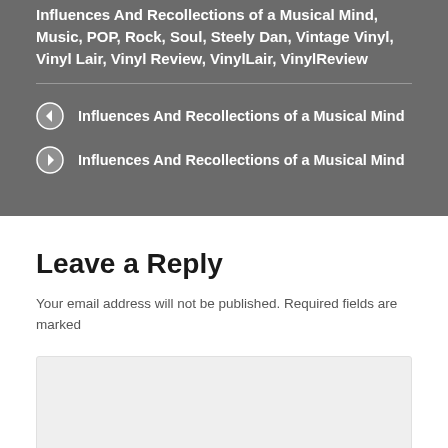Influences And Recollections of a Musical Mind, Music, POP, Rock, Soul, Steely Dan, Vintage Vinyl, Vinyl Lair, Vinyl Review, VinylLair, VinylReview
Influences And Recollections of a Musical Mind
Influences And Recollections of a Musical Mind
Leave a Reply
Your email address will not be published. Required fields are marked